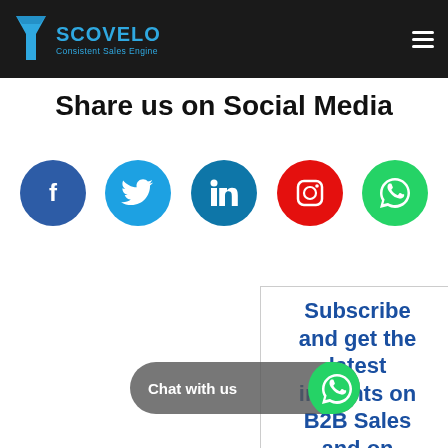SCOVELO – Consistent Sales Engine
Share us on Social Media
[Figure (infographic): Row of five social media icon circles: Facebook (dark blue), Twitter (light blue), LinkedIn (teal blue), Instagram (red), WhatsApp (green)]
Subscribe and get the latest insights on B2B Sales and on Digital Marketing
Chat with us